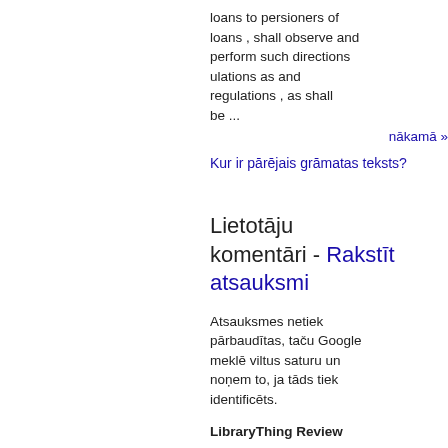loans to persioners of loans , shall observe and perform such directions ulations as and regulations , as shall be ...
nākamā »
Kur ir pārējais grāmatas teksts?
Lietotāju komentāri - Rakstīt atsauksmi
Atsauksmes netiek pārbaudītas, taču Google meklē viltus saturu un noņem to, ja tāds tiek identificēts.
LibraryThing Review
Lietotāja recenzija ★★